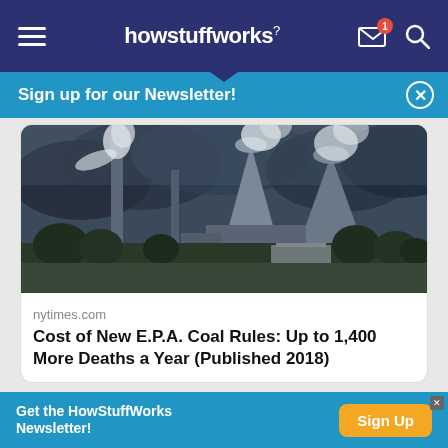howstuffworks
Sign up for our Newsletter!
[Figure (photo): Industrial coal power plant with large cooling towers emitting steam against a dramatic cloudy sky, with trees and a building in the foreground]
nytimes.com
Cost of New E.P.A. Coal Rules: Up to 1,400 More Deaths a Year (Published 2018)
1:53 PM · Aug 21, 2018
1.9K  Reply  Copy link
Read 110 replies
Get the HowStuffWorks Newsletter!  Sign Up